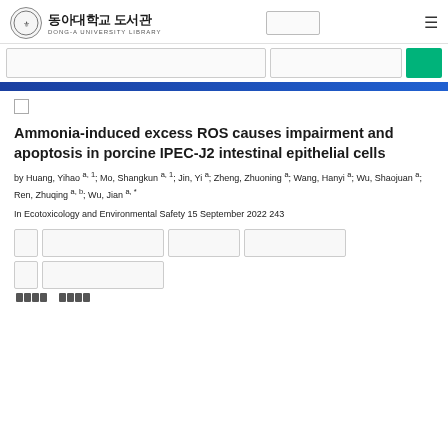동아대학교 도서관 DONG-A UNIVERSITY LIBRARY
Ammonia-induced excess ROS causes impairment and apoptosis in porcine IPEC-J2 intestinal epithelial cells
by Huang, Yihao a, 1; Mo, Shangkun a, 1; Jin, Yi a; Zheng, Zhuoning a; Wang, Hanyi a; Wu, Shaojuan a; Ren, Zhuqing a, b; Wu, Jian a, *
In Ecotoxicology and Environmental Safety 15 September 2022 243